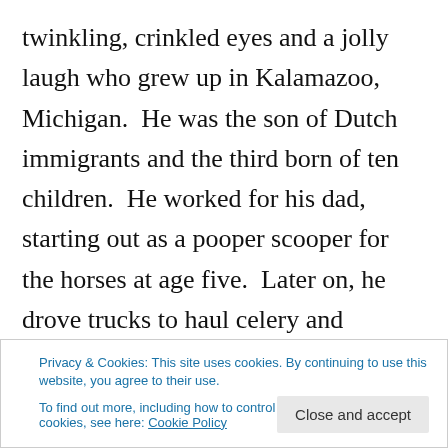twinkling, crinkled eyes and a jolly laugh who grew up in Kalamazoo, Michigan.  He was the son of Dutch immigrants and the third born of ten children.  He worked for his dad, starting out as a pooper scooper for the horses at age five.  Later on, he drove trucks to haul celery and flowers from Kalamazoo to Chicago.
Grandpa loved horses, and if he had lived in the west, I'm certain he would have been a cowboy. I've been
truck from his gravel pit.
Privacy & Cookies: This site uses cookies. By continuing to use this website, you agree to their use.
To find out more, including how to control cookies, see here: Cookie Policy